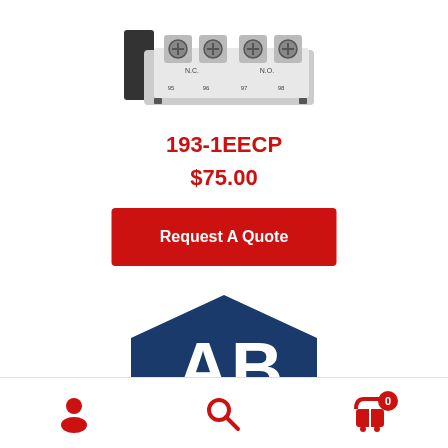[Figure (photo): Electronic contactor/relay component with screw terminals labeled N.C. and N.O., terminals 95, 96, 97, 98]
193-1EECP
$75.00
Request A Quote
[Figure (logo): A.B logo in blue with a house/pentagon shape in dark blue background with white letters A and B]
[Figure (other): Bottom navigation bar with user icon, search icon, and shopping cart icon with badge showing 0]